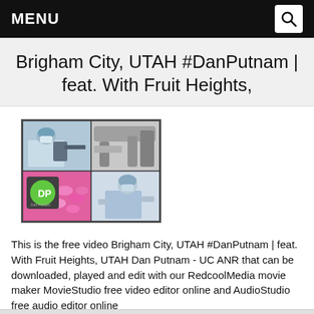MENU
Brigham City, UTAH #DanPutnam | feat. With Fruit Heights,
[Figure (photo): Composite thumbnail of four images: top-left shows a masked lab worker at equipment, top-right shows industrial pipes/ducts, bottom-left shows a DP logo with pink pills, bottom-right shows a masked worker in blue lab coat.]
This is the free video Brigham City, UTAH #DanPutnam | feat. With Fruit Heights, UTAH Dan Putnam - UC ANR that can be downloaded, played and edit with our RedcoolMedia movie maker MovieStudio free video editor online and AudioStudio free audio editor online